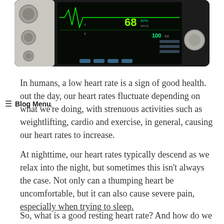[Figure (photo): A medical patient monitor displaying heart rate and vital signs on a black screen with green waveforms showing 68 bpm and 100.]
In humans, a low heart rate is a sign of good health. out the day, our heart rates fluctuate depending on what we're doing, with strenuous activities such as weightlifting, cardio and exercise, in general, causing our heart rates to increase.
At nighttime, our heart rates typically descend as we relax into the night, but sometimes this isn't always the case. Not only can a thumping heart be uncomfortable, but it can also cause severe pain, especially when trying to sleep.
So, what is a good resting heart rate? And how do we